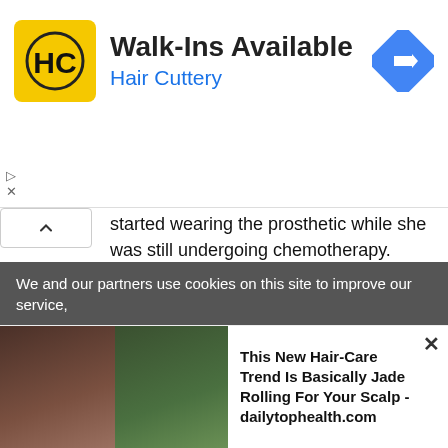[Figure (advertisement): Hair Cuttery advertisement banner with yellow logo, 'Walk-Ins Available' text, and navigation arrow icon]
started wearing the prosthetic while she was still undergoing chemotherapy. After lots of rest, the teenager started to perform gymnastics while wearing the limb over 18 months
WHAT IS ROTATIONPLASTY?
Rotationplasty is a surgical procedure often offered to children with bone cancer around their knee joints.
The operation involves removing cancerous bone, as well as
We and our partners use cookies on this site to improve our service,
[Figure (advertisement): Bottom ad strip showing woman with comb in hair and plant, with text 'This New Hair-Care Trend Is Basically Jade Rolling For Your Scalp - dailytophealth.com']